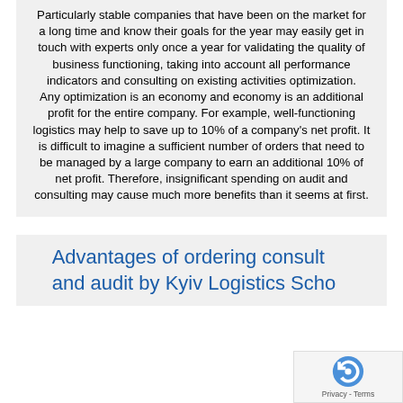Particularly stable companies that have been on the market for a long time and know their goals for the year may easily get in touch with experts only once a year for validating the quality of business functioning, taking into account all performance indicators and consulting on existing activities optimization. Any optimization is an economy and economy is an additional profit for the entire company. For example, well-functioning logistics may help to save up to 10% of a company's net profit. It is difficult to imagine a sufficient number of orders that need to be managed by a large company to earn an additional 10% of net profit. Therefore, insignificant spending on audit and consulting may cause much more benefits than it seems at first.
Advantages of ordering consulting and audit by Kyiv Logistics School